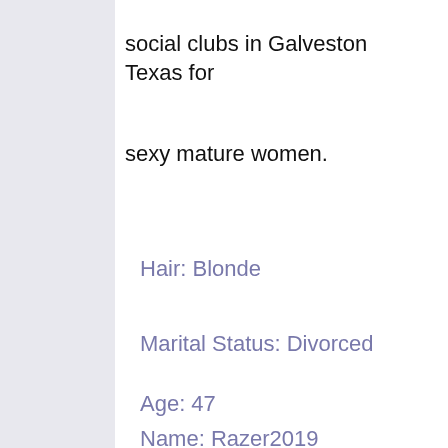social clubs in Galveston Texas for
sexy mature women.
Hair: Blonde
Marital Status: Divorced
Age: 47
Name: Razer2019